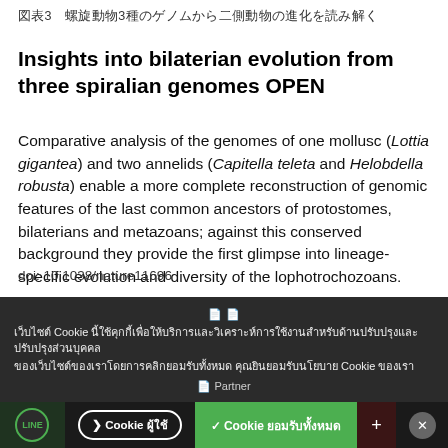図表3　螺旋動物3種のゲノムから二側動物の進化を読み解く
Insights into bilaterian evolution from three spiralian genomes OPEN
Comparative analysis of the genomes of one mollusc (Lottia gigantea) and two annelids (Capitella teleta and Helobdella robusta) enable a more complete reconstruction of genomic features of the last common ancestors of protostomes, bilaterians and metazoans; against this conserved background they provide the first glimpse into lineage-specific evolution and diversity of the lophotrochozoans.
doi: 10.1038/nature11696
[Cookie banner overlay with accept/learn buttons]